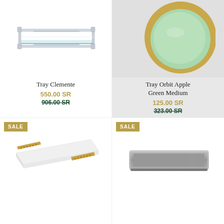[Figure (photo): Glass tray with acrylic/chrome frame - Tray Clemente]
Tray Clemente
550.00 SR
906.00 SR
[Figure (photo): Round bowl with mint green interior and gold exterior rim - Tray Orbit Apple Green Medium]
Tray Orbit Apple Green Medium
125.00 SR
323.00 SR
[Figure (photo): White acrylic tray with gold studded handles - SALE item]
[Figure (photo): Rectangular silver/pewter textured tray - SALE item]